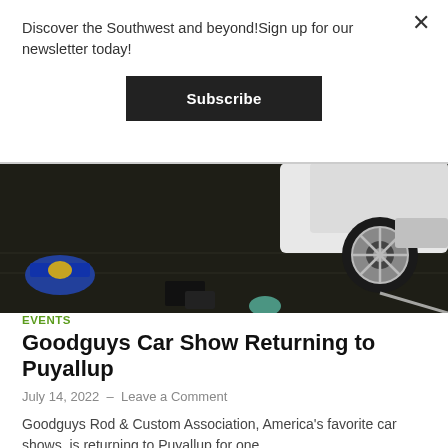Discover the Southwest and beyond!Sign up for our newsletter today!
Subscribe
[Figure (photo): Dark photo of a car show floor with a white car wheel visible and merchandise items on the ground]
EVENTS
Goodguys Car Show Returning to Puyallup
July 14, 2022 - Leave a Comment
Goodguys Rod & Custom Association, America's favorite car shows, is returning to Puyallup for one ...
READ MORE